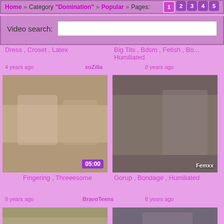Home » Category "Domination" » Popular » Pages: 1 2 3 4 5
Video search:
Dress , Croset , Latex
Big Tits , Bdsm , Fetish , Bo... Humiliated
4 years ago
xoZilla
8 years ago
[Figure (photo): Video thumbnail showing adult content, duration 05:00]
[Figure (photo): Video thumbnail showing adult content with Femxx watermark]
Fingering , Threeesome
Gorup , Bondage , Humiliated
8 years ago
BravoTeens
8 years ago
[Figure (photo): Video thumbnail partial view]
[Figure (photo): Video thumbnail partial view]